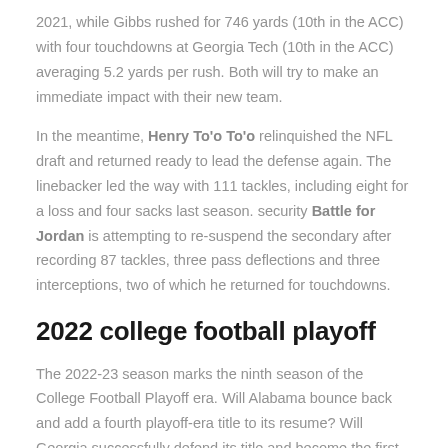2021, while Gibbs rushed for 746 yards (10th in the ACC) with four touchdowns at Georgia Tech (10th in the ACC) averaging 5.2 yards per rush. Both will try to make an immediate impact with their new team.
In the meantime, Henry To'o To'o relinquished the NFL draft and returned ready to lead the defense again. The linebacker led the way with 111 tackles, including eight for a loss and four sacks last season. security Battle for Jordan is attempting to re-suspend the secondary after recording 87 tackles, three pass deflections and three interceptions, two of which he returned for touchdowns.
2022 college football playoff
The 2022-23 season marks the ninth season of the College Football Playoff era. Will Alabama bounce back and add a fourth playoff-era title to its resume? Will Georgia successfully defend its title and become the first team to repeat the title as CFP National Champion? Or will a new team claim its place among college football's kings?